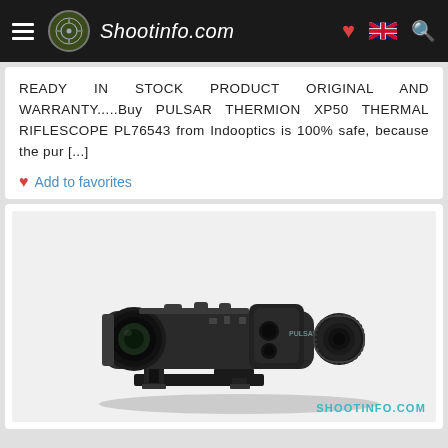Shootinfo.com
READY IN STOCK PRODUCT ORIGINAL AND WARRANTY.....Buy PULSAR THERMION XP50 THERMAL RIFLESCOPE PL76543 from Indooptics is 100% safe, because the pur [...]
Add to favorites
[Figure (photo): Pulsar Thermion XP50 thermal riflescope shown in side profile view with mount, against a light background. Watermark reads SHOOTINFO.COM]